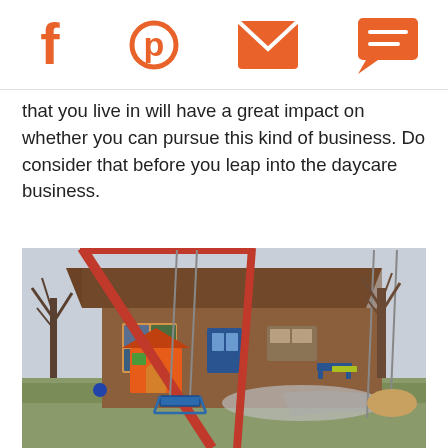Social share icons: Facebook, Pinterest, Email, Chat
that you live in will have a great impact on whether you can pursue this kind of business. Do consider that before you leap into the daycare business.
[Figure (photo): Outdoor playground of a daycare/kindergarten building. Red swing set with a blue swing seat in the foreground, a colorful playhouse, bare winter trees, and a brick building with colorful window frames in the background.]